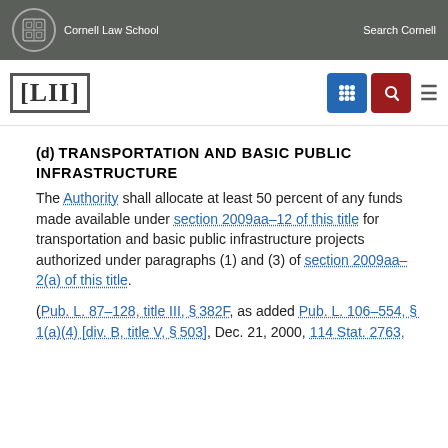Cornell Law School   Search Cornell
[LII]
(d) Transportation and Basic Public Infrastructure
The Authority shall allocate at least 50 percent of any funds made available under section 2009aa–12 of this title for transportation and basic public infrastructure projects authorized under paragraphs (1) and (3) of section 2009aa–2(a) of this title.
(Pub. L. 87–128, title III, §382F, as added Pub. L. 106–554, §1(a)(4) [div. B, title V, §503], Dec. 21, 2000, 114 Stat. 2763,